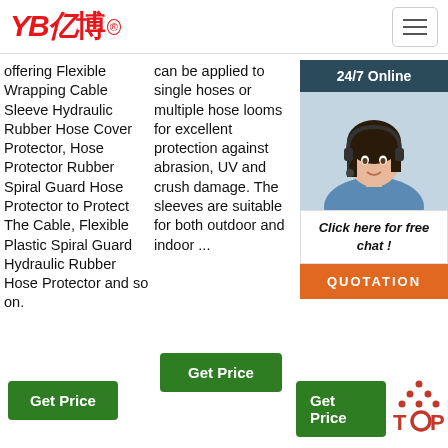YB亿博 logo header with hamburger menu
offering Flexible Wrapping Cable Sleeve Hydraulic Rubber Hose Cover Protector, Hose Protector Rubber Spiral Guard Hose Protector to Protect The Cable, Flexible Plastic Spiral Guard Hydraulic Rubber Hose Protector and so on.
can be applied to single hoses or multiple hose looms for excellent protection against abrasion, UV and crush damage. The sleeves are suitable for both outdoor and indoor ...
professional large-scale ... of R... pro... inte... dev... pro... Our... incl... Gua... Stri... Hos... Out... other Rubber & Plastic Parts.
[Figure (photo): Customer service representative with headset, chat popup overlay with 24/7 Online header, Click here for free chat! text, and QUOTATION orange button]
[Figure (logo): Back to TOP button with dotted triangle arrow]